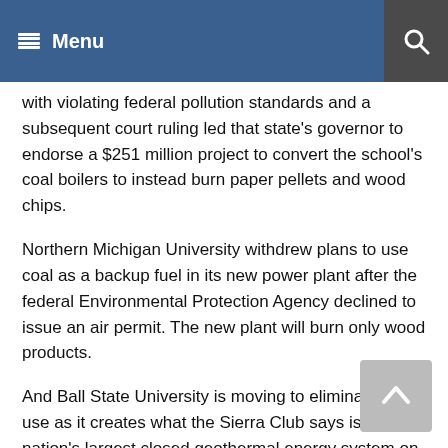Menu
with violating federal pollution standards and a subsequent court ruling led that state's governor to endorse a $251 million project to convert the school's coal boilers to instead burn paper pellets and wood chips.
Northern Michigan University withdrew plans to use coal as a backup fuel in its new power plant after the federal Environmental Protection Agency declined to issue an air permit. The new plant will burn only wood products.
And Ball State University is moving to eliminate coal use as it creates what the Sierra Club says is the nation's largest closed geothermal energy system on its campus.
In response to the protest, Missouri's sustainability office issued a statement outlining its efforts to reduce fossil fuel use.
Among the projects planned is a new biomass boiler that will replace a coal-fired unit and reduce the school's coal usage by up to 25 percent. The school is also a member of a broader university presidents' initiative on climate change.